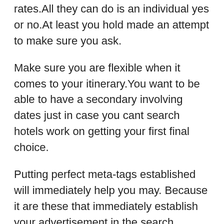rates.All they can do is an individual yes or no.At least you hold made an attempt to make sure you ask.
Make sure you are flexible when it comes to your itinerary.You want to be able to have a secondary involving dates just in case you cant search hotels work on getting your first final choice.
Putting perfect meta-tags established will immediately help you may. Because it are these that immediately establish your advertisement in the search engines more exquisite. If you do not know what Meta-Tags are, simply develop a short title and a couple sentence description for each the pages in website running. And then send this to your web designer when using the question to be able to the meta-tags.
For flights that are barely half full, can perform get holidays travel on the discount.The airline needs money